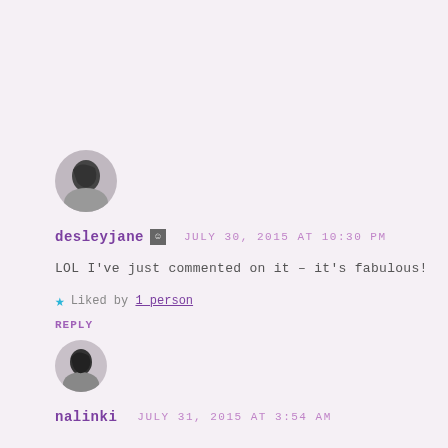[Figure (photo): Circular avatar photo of desleyjane showing a black and white image]
desleyjane [icon] JULY 30, 2015 AT 10:30 PM
LOL I've just commented on it – it's fabulous!
★ Liked by 1 person
REPLY
[Figure (photo): Circular avatar photo of nalinki showing a small black and white image]
nalinki JULY 31, 2015 AT 3:54 AM